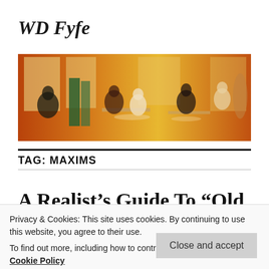WD Fyfe
[Figure (photo): Wide banner image of a busy restaurant/cafe scene with people sitting at tables, warm orange and green tones, stylized/illustrated look]
TAG: MAXIMS
A Realist’s Guide To “Old
Privacy & Cookies: This site uses cookies. By continuing to use this website, you agree to their use.
To find out more, including how to control cookies, see here: Cookie Policy
Close and accept
[Figure (illustration): Bottom left corner partial illustration, colorful comic-style image]
in the world: